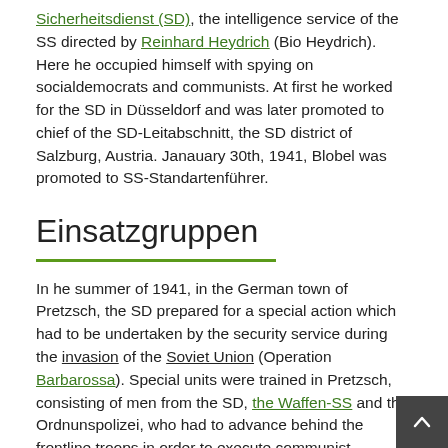Sicherheitsdienst (SD), the intelligence service of the SS directed by Reinhard Heydrich (Bio Heydrich). Here he occupied himself with spying on socialdemocrats and communists. At first he worked for the SD in Düsseldorf and was later promoted to chief of the SD-Leitabschnitt, the SD district of Salzburg, Austria. Janauary 30th, 1941, Blobel was promoted to SS-Standartenführer.
Einsatzgruppen
In he summer of 1941, in the German town of Pretzsch, the SD prepared for a special action which had to be undertaken by the security service during the invasion of the Soviet Union (Operation Barbarossa). Special units were trained in Pretzsch, consisting of men from the SD, the Waffen-SS and the Ordnunspolizei, who had to advance behind the frontline troops in order to execute communist politicians, party officials, Jews working in party and state agencies and "saboteurs, propagandists, guerillafighters, raiders and agitators". A total of four of those Einsatzgruppen were established, each consisting of a few Sonderkommandos and Einsatzkommandos. Paul Blobel was named commander of Sonderkommando 4a of Einsatzgruppe C, headed by Otto Rasch until October 1941 and allocated to Armygroup South of